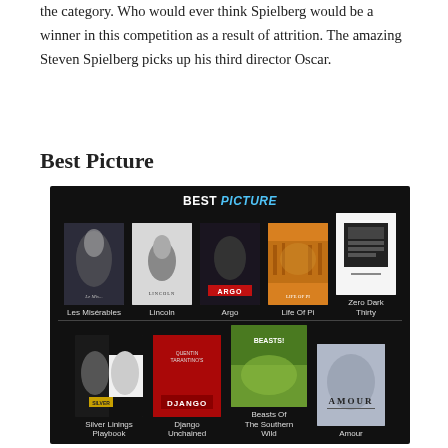the category. Who would ever think Spielberg would be a winner in this competition as a result of attrition. The amazing Steven Spielberg picks up his third director Oscar.
Best Picture
[Figure (infographic): Best Picture nominees collage showing movie posters arranged in two rows on a black background. Top row: Les Misérables, Lincoln, Argo, Life Of Pi, Zero Dark Thirty. Bottom row: Silver Linings Playbook, Django Unchained, Beasts Of The Southern Wild, Amour.]